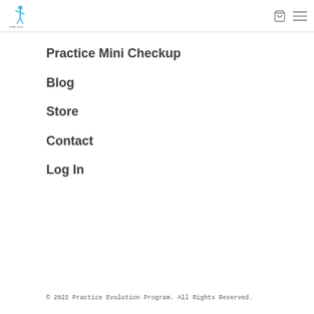Practice Evolution Program logo, cart icon, menu icon
Practice Mini Checkup
Blog
Store
Contact
Log In
© 2022 Practice Evolution Program. All Rights Reserved.